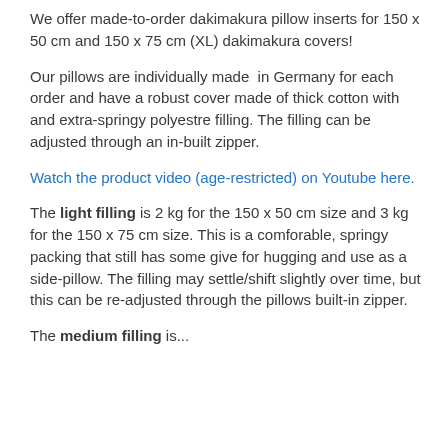We offer made-to-order dakimakura pillow inserts for 150 x 50 cm and 150 x 75 cm (XL) dakimakura covers!
Our pillows are individually made  in Germany for each order and have a robust cover made of thick cotton with and extra-springy polyestre filling. The filling can be adjusted through an in-built zipper.
Watch the product video (age-restricted) on Youtube here.
The light filling is 2 kg for the 150 x 50 cm size and 3 kg for the 150 x 75 cm size. This is a comforable, springy packing that still has some give for hugging and use as a side-pillow. The filling may settle/shift slightly over time, but this can be re-adjusted through the pillows built-in zipper.
The medium filling is...